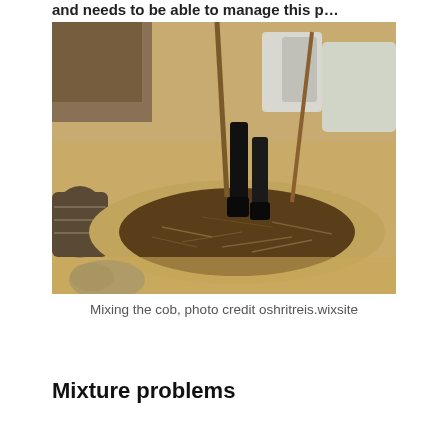and needs to be able to manage this p…
[Figure (photo): A person mixing cob material (dark organic matter mixed with straw/fibers) on sandy ground with their feet. Bags of material and containers visible in the background.]
Mixing the cob, photo credit oshritreis.wixsite
Mixture problems